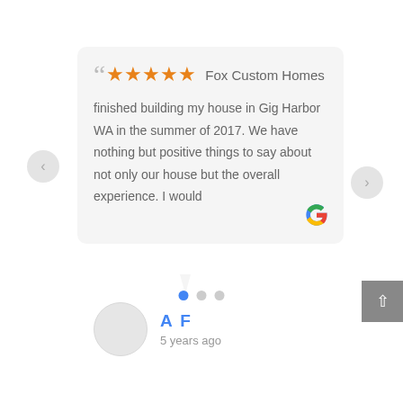[Figure (screenshot): Google review card with 5 orange stars, quote marks, company name 'Fox Custom Homes', review text, Google 'G' logo, and reviewer info 'A F — 5 years ago' with avatar, navigation arrows, scroll-to-top button, and pagination dots.]
Fox Custom Homes finished building my house in Gig Harbor WA in the summer of 2017. We have nothing but positive things to say about not only our house but the overall experience. I would
A F
5 years ago